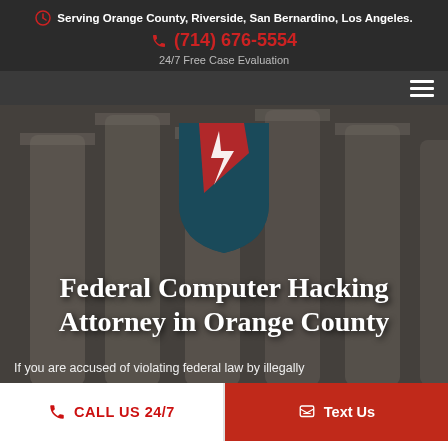Serving Orange County, Riverside, San Bernardino, Los Angeles.
(714) 676-5554
24/7 Free Case Evaluation
[Figure (logo): SEYB Law Group shield logo with red diagonal stripe and 'SEYB LAW GROUP' text on dark teal badge]
Federal Computer Hacking Attorney in Orange County
If you are accused of violating federal law by illegally
CALL US 24/7
Text Us